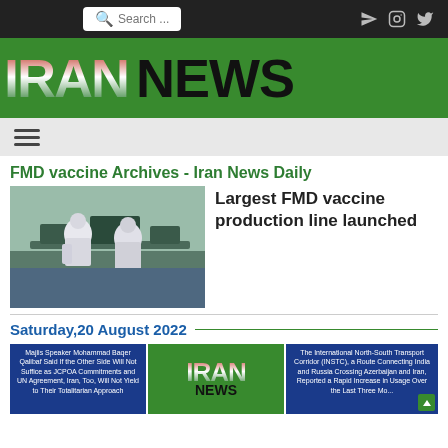Search ... [search bar] [icons: send, instagram, twitter]
IRAN NEWS
[Figure (logo): IRAN NEWS logo on green background]
FMD vaccine Archives - Iran News Daily
[Figure (photo): Scientists in white protective suits working in a laboratory/clean room with laboratory equipment]
Largest FMD vaccine production line launched
Saturday,20 August 2022
[Figure (screenshot): Bottom row of news cards: left card with blue background text about Majlis Speaker Mohammad Baqer Qalibaf; center card with IRAN NEWS logo on green; right card with blue background text about The International North-South Transport Corridor (INSTC)]